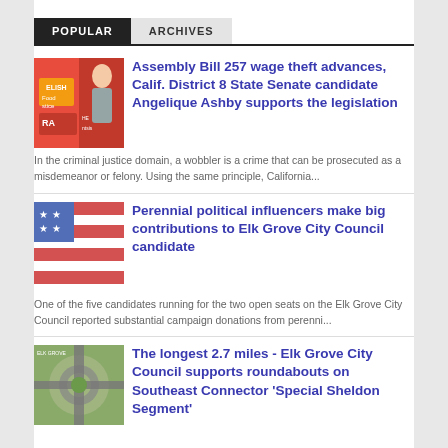POPULAR  ARCHIVES
Assembly Bill 257 wage theft advances, Calif. District 8 State Senate candidate Angelique Ashby supports the legislation
In the criminal justice domain, a wobbler is a crime that can be prosecuted as a misdemeanor or felony. Using the same principle, California...
Perennial political influencers make big contributions to Elk Grove City Council candidate
One of the five candidates running for the two open seats on the Elk Grove City Council reported substantial campaign donations from perenni...
The longest 2.7 miles - Elk Grove City Council supports roundabouts on Southeast Connector 'Special Sheldon Segment'